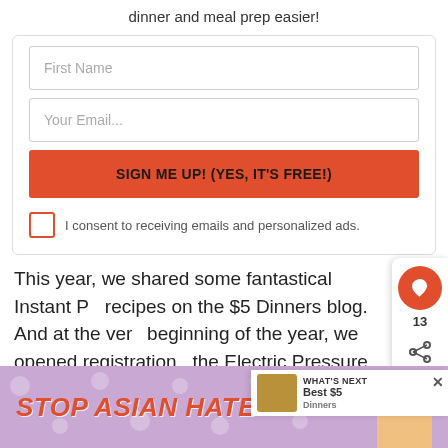dinner and meal prep easier!
[Figure (screenshot): Email signup form with First Name field, Your Email field, orange SIGN ME UP! (YES, IT'S FREE!) button, and consent checkbox]
I consent to receiving emails and personalized ads.
This year, we shared some fantastical Instant P… recipes on the $5 Dinners blog. And at the very beginning of the year, we opened registration … the Electric Pressure Cooking 101 online class.
[Figure (screenshot): Social sidebar with heart/save button showing 13 likes and share icon]
[Figure (screenshot): What's Next panel with food photo and Best $5 Dinners text]
[Figure (screenshot): STOP ASIAN HATE advertisement banner with purple floral background and cartoon face]